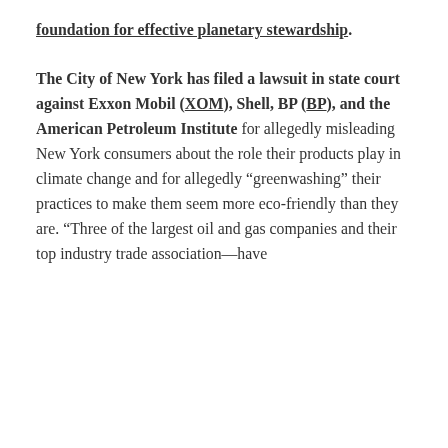foundation for effective planetary stewardship.
The City of New York has filed a lawsuit in state court against Exxon Mobil (XOM), Shell, BP (BP), and the American Petroleum Institute for allegedly misleading New York consumers about the role their products play in climate change and for allegedly “greenwashing” their practices to make them seem more eco-friendly than they are. “Three of the largest oil and gas companies and their top industry trade association—have